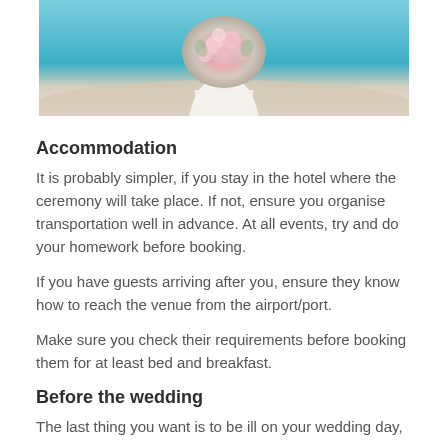[Figure (photo): Wedding photo showing a bride in a white dress holding a large pink and white floral bouquet, standing on a sandy beach with turquoise water in the background. Photo is cropped at the top and bottom.]
Accommodation
It is probably simpler, if you stay in the hotel where the ceremony will take place. If not, ensure you organise transportation well in advance. At all events, try and do your homework before booking.
If you have guests arriving after you, ensure they know how to reach the venue from the airport/port.
Make sure you check their requirements before booking them for at least bed and breakfast.
Before the wedding
The last thing you want is to be ill on your wedding day, so...